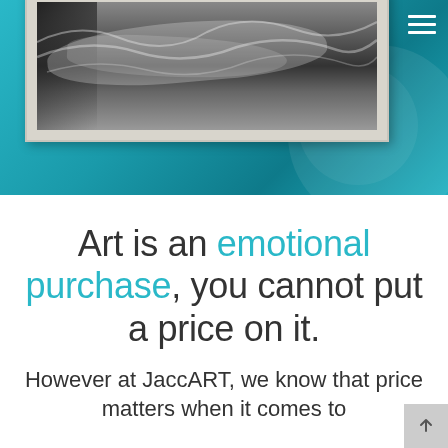[Figure (photo): Black and white framed photograph of waves/water with a sailboat, displayed against a teal/turquoise gradient background with decorative circles]
Art is an emotional purchase, you cannot put a price on it.
However at JaccART, we know that price matters when it comes to